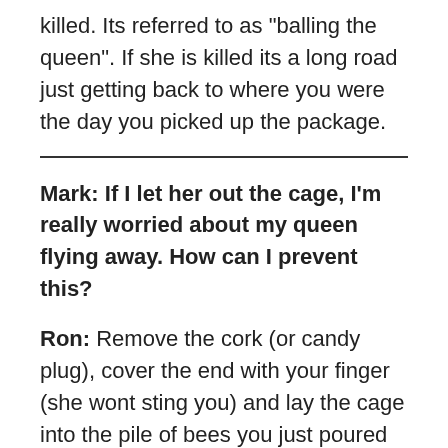killed. Its referred to as "balling the queen". If she is killed its a long road just getting back to where you were the day you picked up the package.
Mark: If I let her out the cage, I'm really worried about my queen flying away. How can I prevent this?
Ron: Remove the cork (or candy plug), cover the end with your finger (she wont sting you) and lay the cage into the pile of bees you just poured into